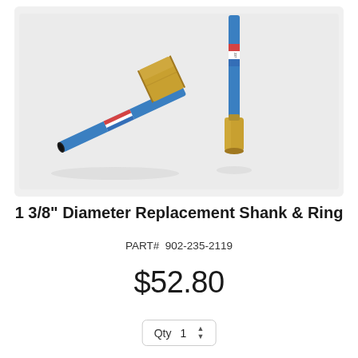[Figure (photo): Two brass hex-head replacement shanks with blue drill rods. One lies diagonally showing the full length of the blue shank with a USA flag label. The other stands upright showing the hex fitting end with a labeled blue rod inserted.]
1 3/8" Diameter Replacement Shank & Ring
PART#  902-235-2119
$52.80
Qty  1